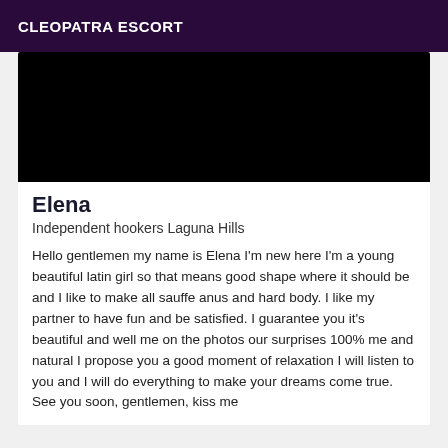CLEOPATRA ESCORT
[Figure (photo): Black rectangle representing a photo placeholder]
Elena
Independent hookers Laguna Hills
Hello gentlemen my name is Elena I'm new here I'm a young beautiful latin girl so that means good shape where it should be and I like to make all sauffe anus and hard body. I like my partner to have fun and be satisfied. I guarantee you it's beautiful and well me on the photos our surprises 100% me and natural I propose you a good moment of relaxation I will listen to you and I will do everything to make your dreams come true. See you soon, gentlemen, kiss me